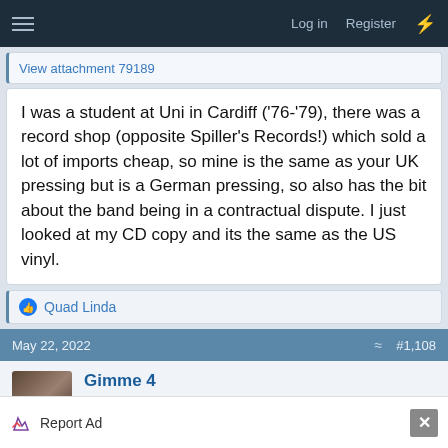Log in  Register
View attachment 79189
I was a student at Uni in Cardiff ('76-'79), there was a record shop (opposite Spiller's Records!) which sold a lot of imports cheap, so mine is the same as your UK pressing but is a German pressing, so also has the bit about the band being in a contractual dispute. I just looked at my CD copy and its the same as the US vinyl.
Quad Linda
May 22, 2022  #1,108
Gimme 4
701 Club - QQ All-Star
Report Ad